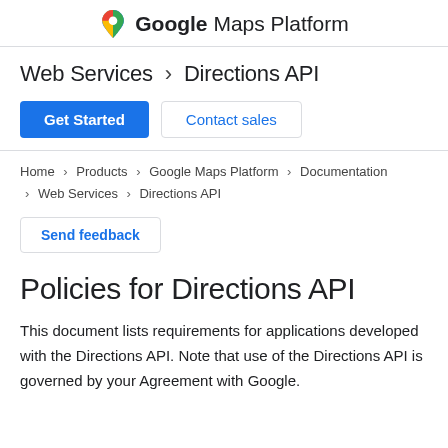Google Maps Platform
Web Services > Directions API
Get Started | Contact sales
Home > Products > Google Maps Platform > Documentation > Web Services > Directions API
Send feedback
Policies for Directions API
This document lists requirements for applications developed with the Directions API. Note that use of the Directions API is governed by your Agreement with Google.